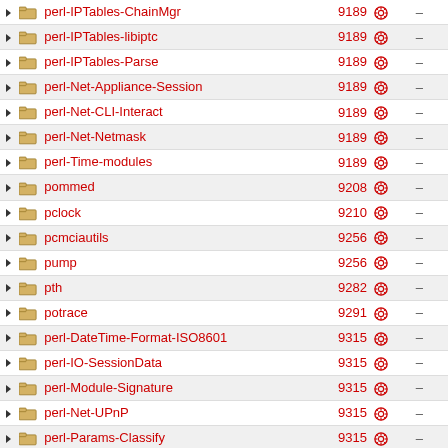| Name | Number |  |
| --- | --- | --- |
| perl-IPTables-ChainMgr | 9189 | – |
| perl-IPTables-libiptc | 9189 | – |
| perl-IPTables-Parse | 9189 | – |
| perl-Net-Appliance-Session | 9189 | – |
| perl-Net-CLI-Interact | 9189 | – |
| perl-Net-Netmask | 9189 | – |
| perl-Time-modules | 9189 | – |
| pommed | 9208 | – |
| pclock | 9210 | – |
| pcmciautils | 9256 | – |
| pump | 9256 | – |
| pth | 9282 | – |
| potrace | 9291 | – |
| perl-DateTime-Format-ISO8601 | 9315 | – |
| perl-IO-SessionData | 9315 | – |
| perl-Module-Signature | 9315 | – |
| perl-Net-UPnP | 9315 | – |
| perl-Params-Classify | 9315 | – |
| perl-SOAP-Lite | 9315 | – |